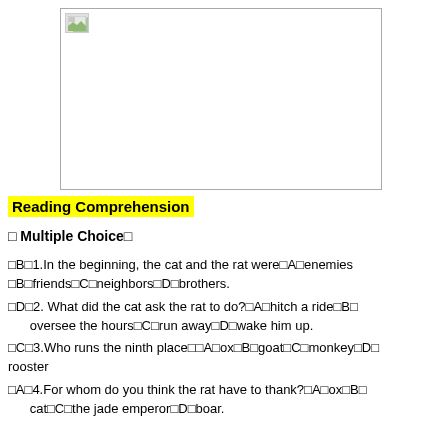[Figure (photo): A placeholder image box with a small image icon in the top-left corner, surrounded by a border.]
Reading Comprehension
□ Multiple Choice□
□B□1.In the beginning, the cat and the rat were□A□enemies □B□friends□C□neighbors□D□brothers.
□D□2. What did the cat ask the rat to do?□A□hitch a ride□B□oversee the hours□C□run away□D□wake him up.
□C□3.Who runs the ninth place□□A□ox□B□goat□C□monkey□D□rooster
□A□4.For whom do you think the rat have to thank?□A□ox□B□cat□C□the jade emperor□D□boar.